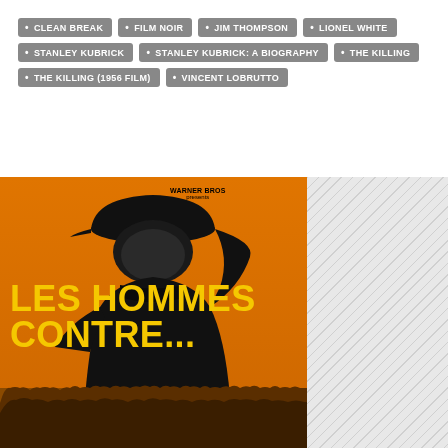CLEAN BREAK
FILM NOIR
JIM THOMPSON
LIONEL WHITE
STANLEY KUBRICK
STANLEY KUBRICK: A BIOGRAPHY
THE KILLING
THE KILLING (1956 FILM)
VINCENT LOBRUTTO
[Figure (photo): Movie poster for 'Les Hommes Contre...' featuring a soldier in a helmet saluting against an orange background, with a crowd silhouette at the bottom and yellow bold title text. Warner Bros presents logo at top.]